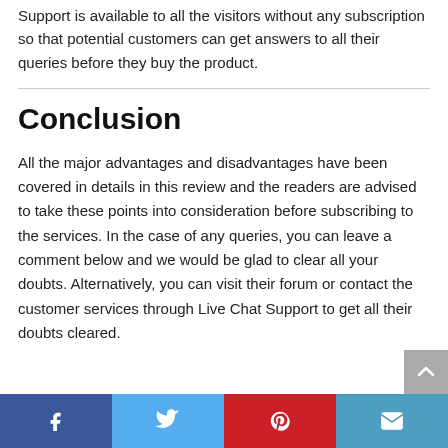Support is available to all the visitors without any subscription so that potential customers can get answers to all their queries before they buy the product.
Conclusion
All the major advantages and disadvantages have been covered in details in this review and the readers are advised to take these points into consideration before subscribing to the services. In the case of any queries, you can leave a comment below and we would be glad to clear all your doubts. Alternatively, you can visit their forum or contact the customer services through Live Chat Support to get all their doubts cleared.